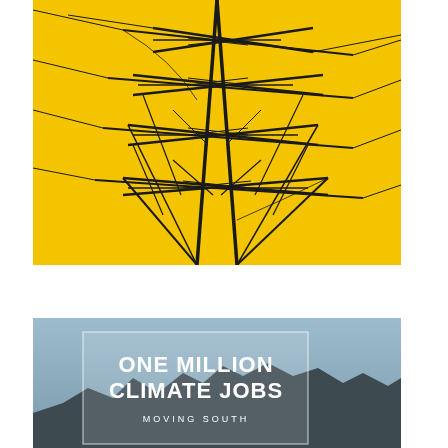[Figure (photo): Close-up photograph of an electricity transmission pylon/tower structure against a bright yellow background, showing the dark metallic lattice framework and power lines from a low angle looking up]
[Figure (photo): Book cover image showing 'ONE MILLION CLIMATE JOBS - MOVING SOUTH' in bold white text inside a light-bordered box, set against a blue-grey sky with mountain silhouettes at the bottom]